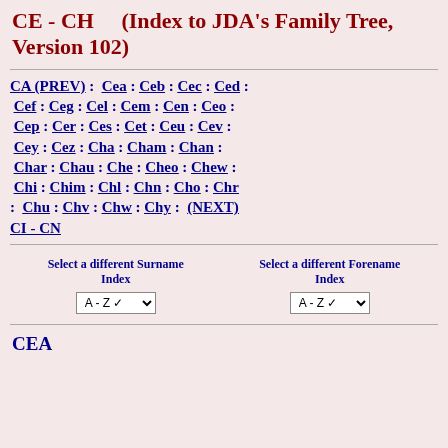CE - CH  (Index to JDA's Family Tree, Version 102)
CA (PREV) : Cea : Ceb : Cec : Ced : Cef : Ceg : Cel : Cem : Cen : Ceo : Cep : Cer : Ces : Cet : Ceu : Cev : Cey : Cez : Cha : Cham : Chan : Char : Chau : Che : Cheo : Chew : Chi : Chim : Chl : Chn : Cho : Chr : Chu : Chv : Chw : Chy : (NEXT) CI - CN
Select a different Surname Index
Select a different Forename Index
CEA